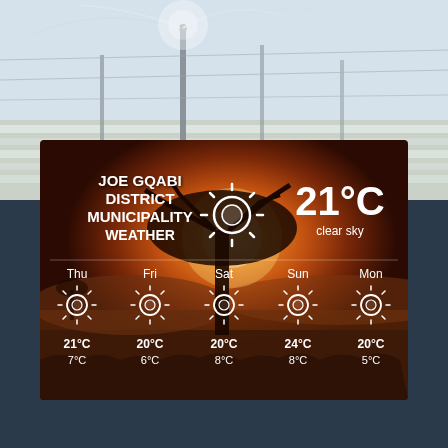[Figure (photo): Top portion shows an outdoor irrigation/sprinkler system spraying water over agricultural fields, with fence posts visible. Black and white mist-like appearance.]
[Figure (infographic): Weather card for Joe Gqabi District Municipality showing current weather (21°C, clear sky with sun icon) and 5-day forecast. Background is a sunset photo of African savanna with an acacia tree silhouette. Forecasts: Thu 21°C/7°C, Fri 20°C/6°C, Sat 20°C/8°C, Sun 24°C/8°C, Mon 20°C/5°C, all clear sky (sun icons).]